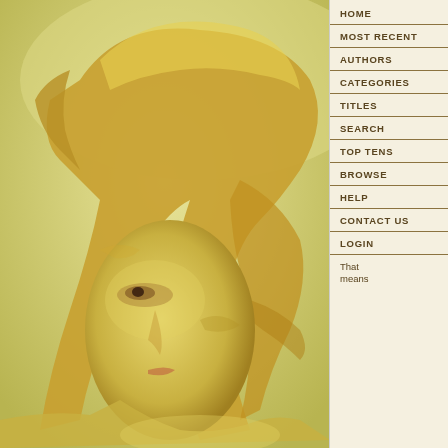[Figure (illustration): Digital painting of a woman with long flowing golden/blonde hair, seen in profile facing right, with a warm yellow-golden color palette and soft lighting.]
HOME
MOST RECENT
AUTHORS
CATEGORIES
TITLES
SEARCH
TOP TENS
BROWSE
HELP
CONTACT US
LOGIN
That means